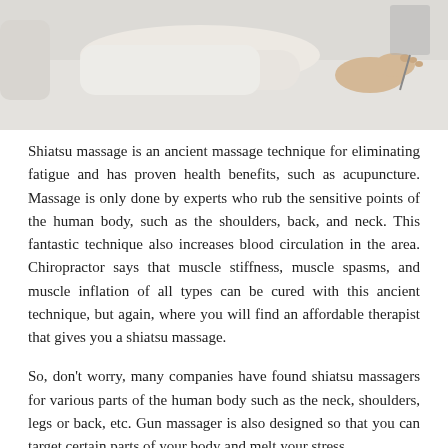[Figure (photo): Person relaxing on a white sofa, legs resting, wearing white clothing, feet visible, appearing to receive or relax after a massage.]
Shiatsu massage is an ancient massage technique for eliminating fatigue and has proven health benefits, such as acupuncture. Massage is only done by experts who rub the sensitive points of the human body, such as the shoulders, back, and neck. This fantastic technique also increases blood circulation in the area. Chiropractor says that muscle stiffness, muscle spasms, and muscle inflation of all types can be cured with this ancient technique, but again, where you will find an affordable therapist that gives you a shiatsu massage.
So, don't worry, many companies have found shiatsu massagers for various parts of the human body such as the neck, shoulders, legs or back, etc. Gun massager is also designed so that you can target certain parts of your body and melt your stress
1. Back Massager
If you have a history of back pain and you cannot find a solution for it, then try the shiatsu massager technique for it. Many